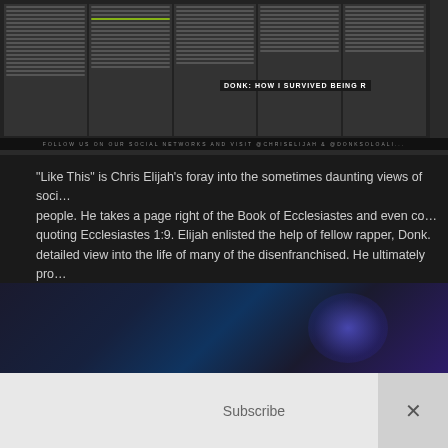[Figure (photo): Newspaper-style layout image showing columns of text with 'DONK: HOW I SURVIVED BEING R' headline visible, and social network follow message at bottom]
“Like This” is Chris Elijah’s foray into the sometimes daunting views of soci… people. He takes a page right of the Book of Ecclesiastes and even co… quoting Ecclesiastes 1:9. Elijah enlisted the help of fellow rapper, Donk. detailed view into the life of many of the disenfranchised. He ultimately pro… message of hope through faith, unity, and love. “Like This” is the…
Continue
Added by Tampa Mystic on June 15, 2019 at 10:51am — No Comments
[Video] Levy - Lonely Sheep (5am)
[Figure (photo): Dark blue/purple video thumbnail with lighting effects]
Subscribe
×